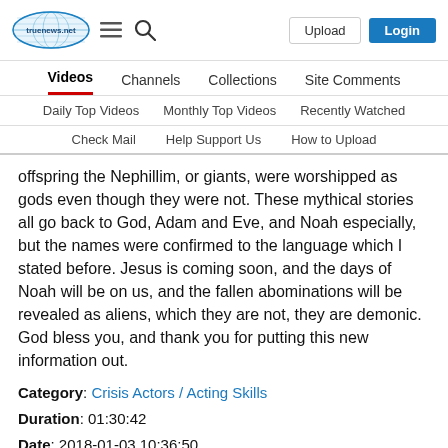[Figure (logo): TrueNews.net website logo — oval-shaped logo with blue/teal coloring and globe/net pattern, with text 'truenews.net']
Videos | Channels | Collections | Site Comments | Daily Top Videos | Monthly Top Videos | Recently Watched | Check Mail | Help Support Us | How to Upload
offspring the Nephillim, or giants, were worshipped as gods even though they were not. These mythical stories all go back to God, Adam and Eve, and Noah especially, but the names were confirmed to the language which I stated before. Jesus is coming soon, and the days of Noah will be on us, and the fallen abominations will be revealed as aliens, which they are not, they are demonic. God bless you, and thank you for putting this new information out.
Category: Crisis Actors / Acting Skills
Duration: 01:30:42
Date: 2018-01-03 10:36:50
Tags: dajorivision.wixsite.com/dajorivision